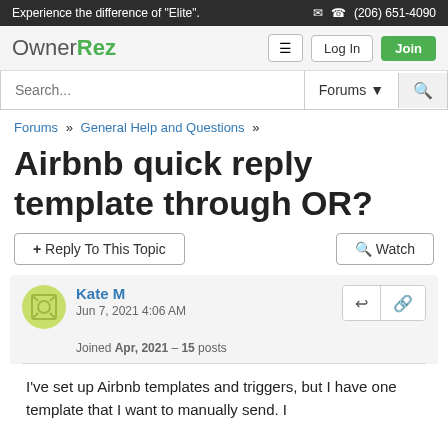Experience the difference of "Elite".  ✉ ☎ (206) 651-4090
[Figure (logo): OwnerRez logo with green 'Rez' text, navigation buttons: hamburger menu, Log In, Join]
Search... Forums ▾ 🔍
Forums » General Help and Questions »
Airbnb quick reply template through OR?
+ Reply To This Topic    🔭 Watch
Kate M
Jun 7, 2021 4:06 AM
Joined Apr, 2021 – 15 posts
I've set up Airbnb templates and triggers, but I have one template that I want to manually send. I